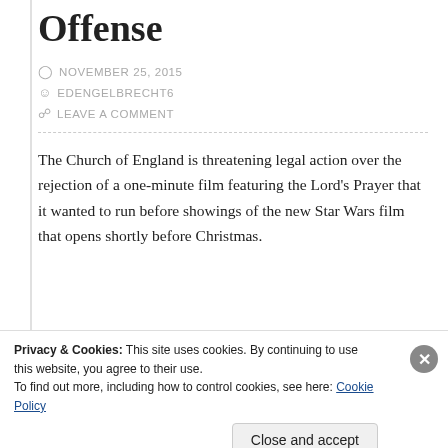Offense
NOVEMBER 25, 2015
EDENGELBRECHT6
LEAVE A COMMENT
The Church of England is threatening legal action over the rejection of a one-minute film featuring the Lord's Prayer that it wanted to run before showings of the new Star Wars film that opens shortly before Christmas.
Privacy & Cookies: This site uses cookies. By continuing to use this website, you agree to their use.
To find out more, including how to control cookies, see here: Cookie Policy